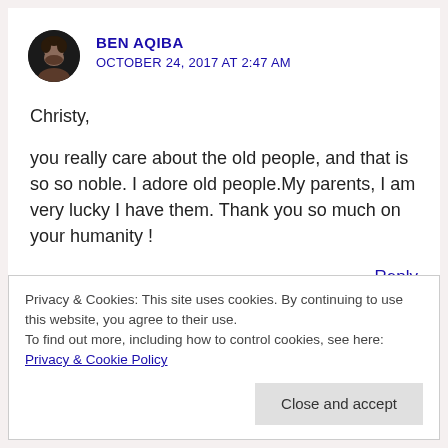[Figure (photo): Circular avatar photo of a man with a beard on a dark background]
BEN AQIBA
OCTOBER 24, 2017 AT 2:47 AM
Christy,
you really care about the old people, and that is so so noble. I adore old people.My parents, I am very lucky I have them. Thank you so much on your humanity !
Reply
Privacy & Cookies: This site uses cookies. By continuing to use this website, you agree to their use.
To find out more, including how to control cookies, see here: Privacy & Cookie Policy
Close and accept